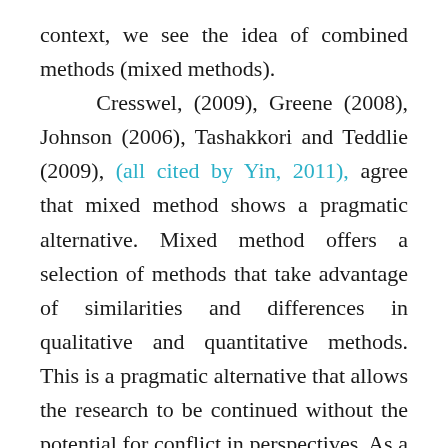context, we see the idea of combined methods (mixed methods). Cresswel, (2009), Greene (2008), Johnson (2006), Tashakkori and Teddlie (2009), (all cited by Yin, 2011), agree that mixed method shows a pragmatic alternative. Mixed method offers a selection of methods that take advantage of similarities and differences in qualitative and quantitative methods. This is a pragmatic alternative that allows the research to be continued without the potential for conflict in perspectives. As a result, cohorts of contemporary research (mixed method) have been making their best effort to define, document, and classify types of the research.